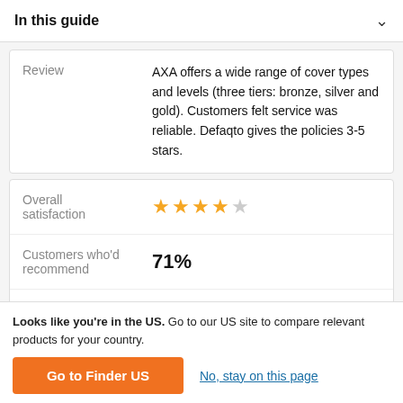In this guide
|  |  |
| --- | --- |
| Review | AXA offers a wide range of cover types and levels (three tiers: bronze, silver and gold). Customers felt service was reliable. Defaqto gives the policies 3-5 stars. |
| Overall satisfaction | ★★★★☆ |
| Customers who'd recommend | 71% |
| Issuer | SAGA |
Looks like you're in the US. Go to our US site to compare relevant products for your country.
Go to Finder US
No, stay on this page